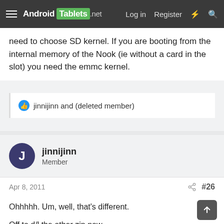Android Tablets .net  Log in  Register
need to choose SD kernel. If you are booting from the internal memory of the Nook (ie without a card in the slot) you need the emmc kernel.
jinnijinn and (deleted member)
jinnijinn
Member
Apr 8, 2011  #26
Ohhhhh. Um, well, that's different.

Off to d/l the other zip now.